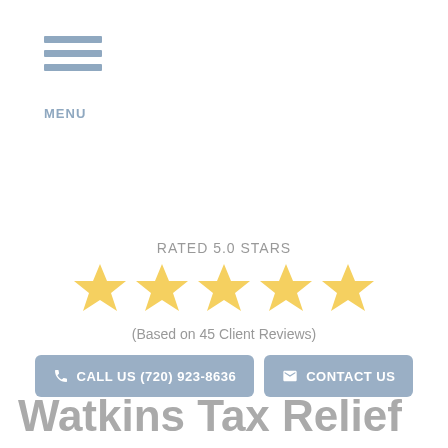MENU
RATED 5.0 STARS
[Figure (other): Five gold stars rating display]
(Based on 45 Client Reviews)
CALL US (720) 923-8636
CONTACT US
Watkins Tax Relief